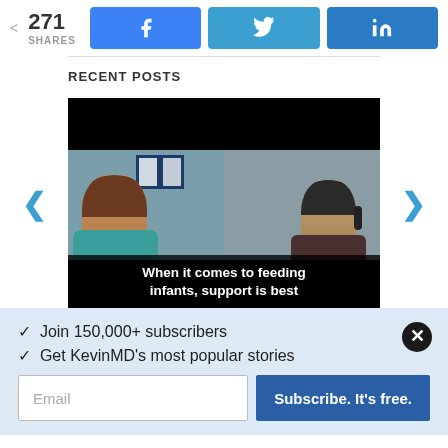271 SHARES
[Figure (screenshot): Social share buttons: Facebook, Twitter, LinkedIn]
RECENT POSTS
[Figure (screenshot): Video thumbnail showing two people with caption: When it comes to feeding infants, support is best]
✓ Join 150,000+ subscribers
✓ Get KevinMD's most popular stories
Email
Subscribe. It's free.